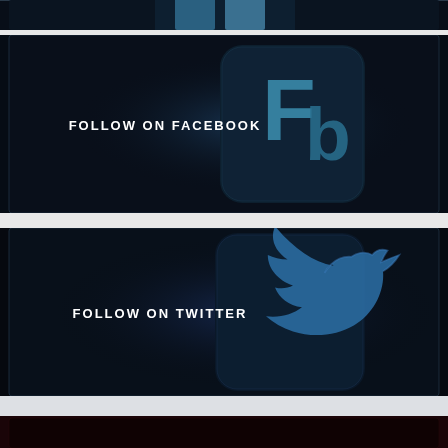[Figure (illustration): Top strip showing partial dark blue social media icon with grid/table symbol, cut off at top]
[Figure (illustration): Dark panel with glowing Fb Facebook icon logo in teal/blue on dark background, with text FOLLOW ON FACEBOOK]
[Figure (illustration): Dark panel with glowing Twitter bird icon logo in blue on dark background, with text FOLLOW ON TWITTER]
[Figure (illustration): Bottom dark red/maroon panel, partially visible]